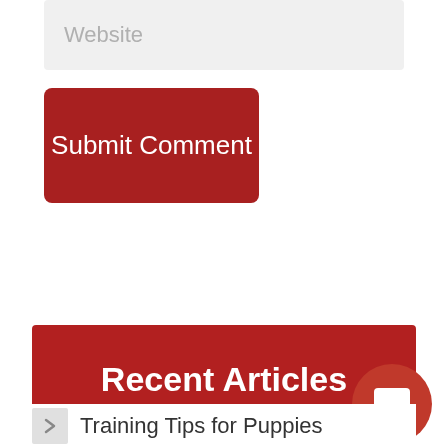Website
Submit Comment
Recent Articles
Training Tips for Puppies